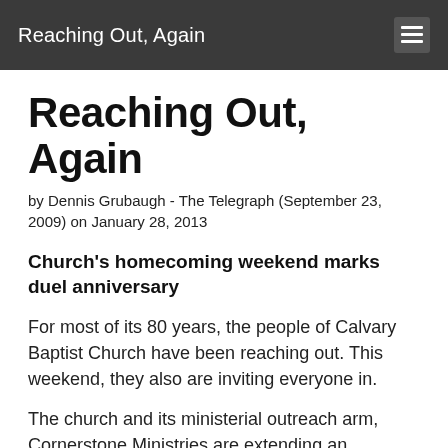Reaching Out, Again
Reaching Out, Again
by Dennis Grubaugh - The Telegraph (September 23, 2009) on January 28, 2013
Church's homecoming weekend marks duel anniversary
For most of its 80 years, the people of Calvary Baptist Church have been reaching out. This weekend, they also are inviting everyone in.
The church and its ministerial outreach arm, Cornerstone Ministries are extending an invitation to the community to attend a